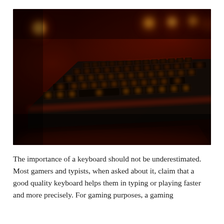[Figure (photo): A gaming keyboard with red/orange backlighting illuminating each key, photographed at an angle against a dark background. The keys glow with warm orange-red light and there are blurred orange bokeh lights in the background.]
The importance of a keyboard should not be underestimated. Most gamers and typists, when asked about it, claim that a good quality keyboard helps them in typing or playing faster and more precisely. For gaming purposes, a gaming